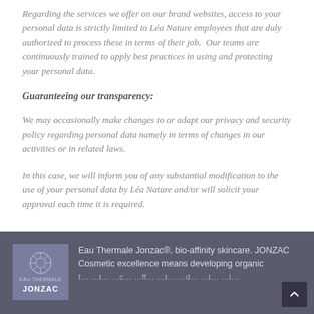Regarding the services we offer on our brand websites, access to your personal data is strictly limited to Léa Nature employees that are duly authorized to process these in terms of their job. Our teams are continuously trained to apply best practices in using and protecting your personal data.
Guaranteeing our transparency:
We may occasionally make changes to or adapt our privacy and security policy regarding personal data namely in terms of changes in our activities or in related laws.
In this case, we will inform you of any substantial modification to the use of your personal data by Léa Nature and/or will solicit your approval each time it is required.
[Figure (logo): Eau Thermale Jonzac logo on dark grey/purple footer background with brand text beside it]